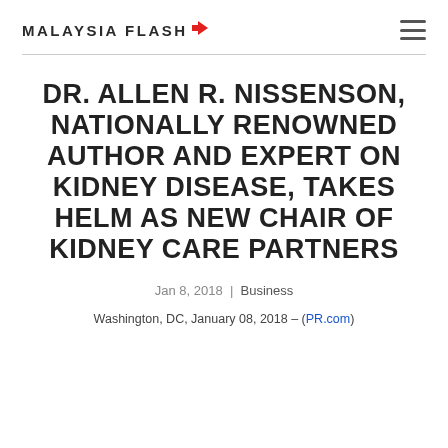Malaysia Flash
DR. ALLEN R. NISSENSON, NATIONALLY RENOWNED AUTHOR AND EXPERT ON KIDNEY DISEASE, TAKES HELM AS NEW CHAIR OF KIDNEY CARE PARTNERS
Jan 8, 2018 | Business
Washington, DC, January 08, 2018 – (PR.com)